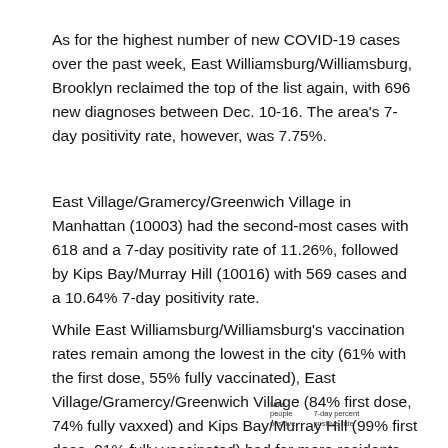As for the highest number of new COVID-19 cases over the past week, East Williamsburg/Williamsburg, Brooklyn reclaimed the top of the list again, with 696 new diagnoses between Dec. 10-16. The area's 7-day positivity rate, however, was 7.75%.
East Village/Gramercy/Greenwich Village in Manhattan (10003) had the second-most cases with 618 and a 7-day positivity rate of 11.26%, followed by Kips Bay/Murray Hill (10016) with 569 cases and a 10.64% 7-day positivity rate.
While East Williamsburg/Williamsburg's vaccination rates remain among the lowest in the city (61% with the first dose, 55% fully vaccinated), East Village/Gramercy/Greenwich Village (84% first dose, 74% fully vaxxed) and Kips Bay/Murray Hill (99% first dose, 91% fully vaccinated) had far more residents with some line of protection against COVID-19.
New people positive
7-day percent positive